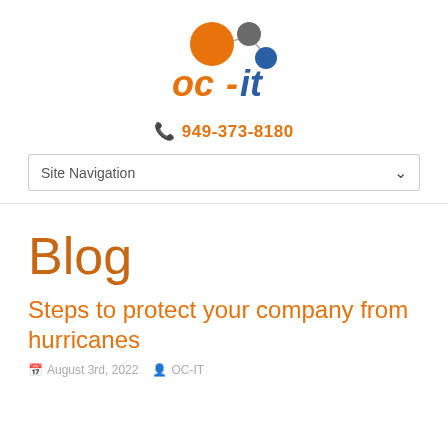[Figure (logo): OC-IT company logo with orange and grey/blue connected spheres above bold orange 'oc-it' text]
949-373-8180
Site Navigation
Blog
Steps to protect your company from hurricanes
August 3rd, 2022  OC-IT